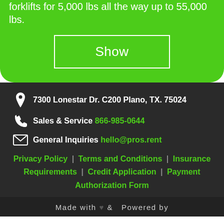forklifts for 5,000 lbs all the way up to 55,000 lbs.
Show
7300 Lonestar Dr. C200 Plano, TX. 75024
Sales & Service 866-985-0644
General Inquiries hello@pros.rent
Privacy Policy | Terms and Conditions | Insurance Requirements | Credit Application | Payment Authorization Form
Made with ♥ & Powered by